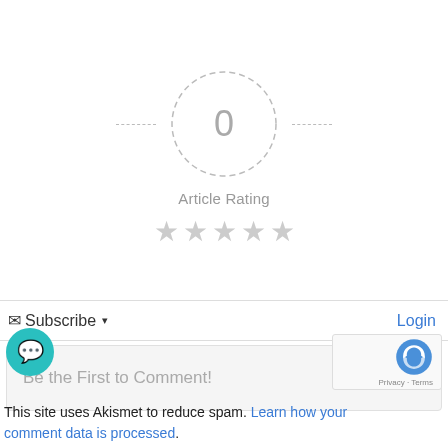[Figure (other): Article rating widget showing '0' inside a dashed circle with decorative dashed lines extending left and right, label 'Article Rating', and 5 empty gray stars below]
Subscribe ▾
Login
Be the First to Comment!
This site uses Akismet to reduce spam. Learn how your comment data is processed.